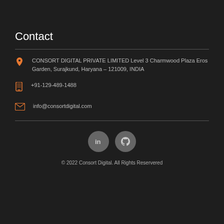Contact
CONSORT DIGITAL PRIVATE LIMITED Level 3 Charmwood Plaza Eros Garden, Surajkund, Haryana - 121009, INDIA
+91-129-489-1488
info@consortdigital.com
[Figure (logo): LinkedIn and GitHub social media icons in grey circles]
© 2022 Consort Digital. All Rights Reservered